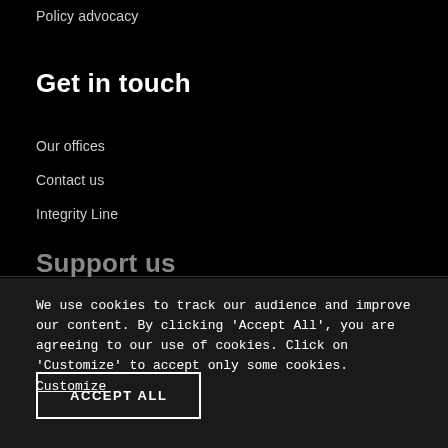Policy advocacy
Get in touch
Our offices
Contact us
Integrity Line
Support us
We use cookies to track our audience and improve our content. By clicking 'Accept All', you are agreeing to our use of cookies. Click on 'Customize' to accept only some cookies. Customize
ACCEPT ALL